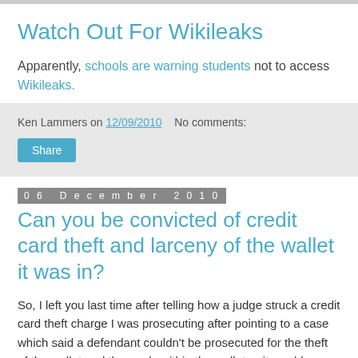Watch Out For Wikileaks
Apparently, schools are warning students not to access Wikileaks.
Ken Lammers on 12/09/2010    No comments:
Share
06 December 2010
Can you be convicted of credit card theft and larceny of the wallet it was in?
So, I left you last time after telling how a judge struck a credit card theft charge I was prosecuting after pointing to a case which said a defendant couldn't be prosecuted for the theft of the wallet and the cards within the wallet or it would violate double jeopardy. I also told you how, after I got home and it was too late, I eventually came up with the correct answer.